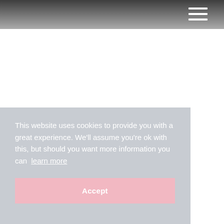This website uses cookies to provide you with a great experience. We'll assume you're ok with this, but should you want more information you can learn more
Accept